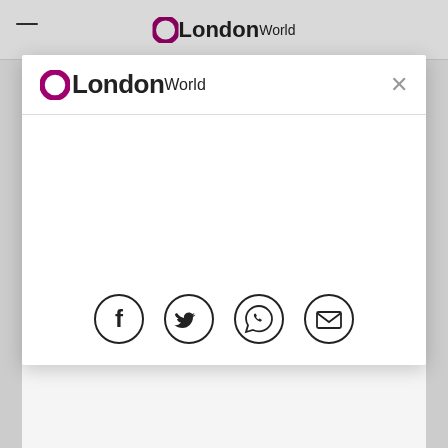[Figure (logo): LondonWorld logo - circular purple O followed by London in bold black and World in regular weight]
[Figure (screenshot): Mobile navigation modal overlay showing LondonWorld logo in header, close X button, and social sharing icons (Facebook, Twitter, WhatsApp, Email) at bottom]